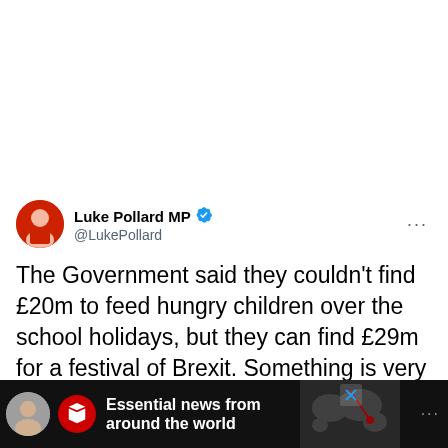[Figure (screenshot): Twitter/X tweet screenshot from Luke Pollard MP (@LukePollard) with verified badge, posted 10:30 AM · Nov 24, 2020 · TweetDeck. Tweet text: 'The Government said they couldn't find £20m to feed hungry children over the school holidays, but they can find £29m for a festival of Brexit. Something is very wrong about their priorities...' Stats: 344 Retweets, 29 Quote Tweets, 1.3K Likes. Bottom shows a news advertisement bar: 'Essential news from around the world' with a red Y logo.]